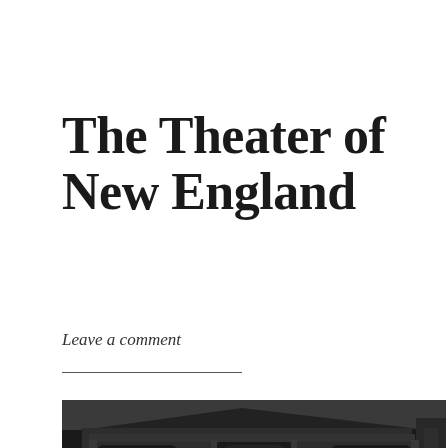The Theater of New England
Leave a comment
[Figure (photo): Black and white historical illustration of a theater building exterior with ornate facade, arched doorways, framed posters, and decorative elements. Figures visible in the lower portion.]